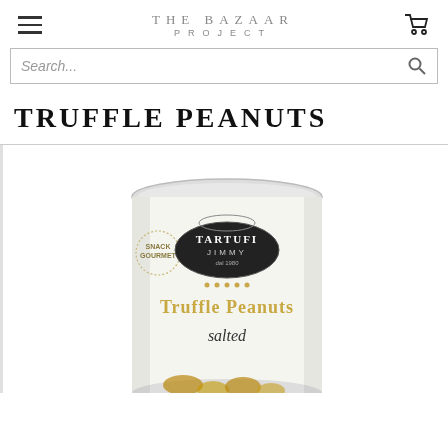THE BAZAAR PROJECT
Search...
TRUFFLE PEANUTS
[Figure (photo): A cylindrical tin can of Tartufi Jimmy Truffle Peanuts (salted) with a white/cream label showing the Tartufi Jimmy logo and 'Truffle Peanuts' text in gold lettering on a white background with a transparent lid.]